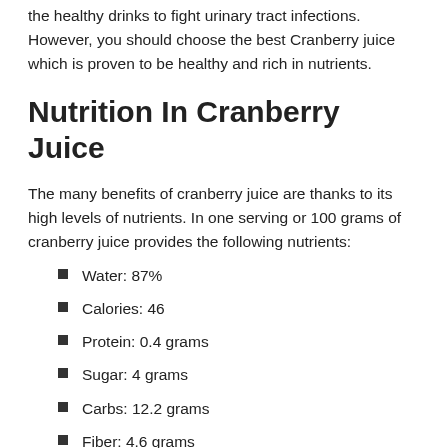the healthy drinks to fight urinary tract infections. However, you should choose the best Cranberry juice which is proven to be healthy and rich in nutrients.
Nutrition In Cranberry Juice
The many benefits of cranberry juice are thanks to its high levels of nutrients. In one serving or 100 grams of cranberry juice provides the following nutrients:
Water: 87%
Calories: 46
Protein: 0.4 grams
Sugar: 4 grams
Carbs: 12.2 grams
Fiber: 4.6 grams
Vitamin C: 26% of the daily value (DV)